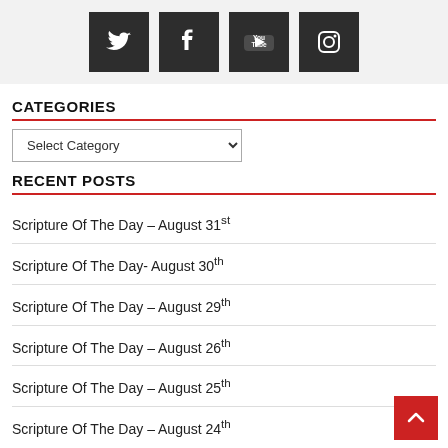[Figure (infographic): Social media icons bar with Twitter, Facebook, YouTube, and Instagram icons on dark square backgrounds on a light grey background.]
CATEGORIES
Select Category (dropdown)
RECENT POSTS
Scripture Of The Day – August 31st
Scripture Of The Day- August 30th
Scripture Of The Day – August 29th
Scripture Of The Day – August 26th
Scripture Of The Day – August 25th
Scripture Of The Day – August 24th